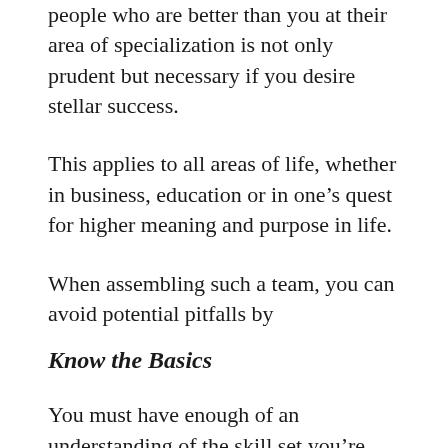people who are better than you at their area of specialization is not only prudent but necessary if you desire stellar success.
This applies to all areas of life, whether in business, education or in one’s quest for higher meaning and purpose in life.
When assembling such a team, you can avoid potential pitfalls by
Know the Basics
You must have enough of an understanding of the skill set you’re looking to add to your team to keep you from getting ripped off. Industries